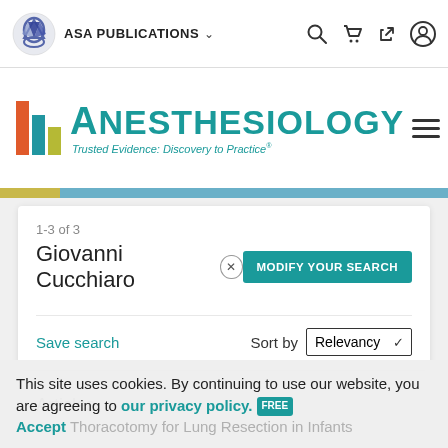ASA PUBLICATIONS
[Figure (logo): Anesthesiology journal logo with colored bars and teal text reading ANESTHESIOLOGY, subtitle: Trusted Evidence: Discovery to Practice]
1-3 of 3
Giovanni Cucchiaro
MODIFY YOUR SEARCH
Save search
Sort by Relevancy
Articles
This site uses cookies. By continuing to use our website, you are agreeing to our privacy policy. Accept Thoracotomy for Lung Resection in Infants